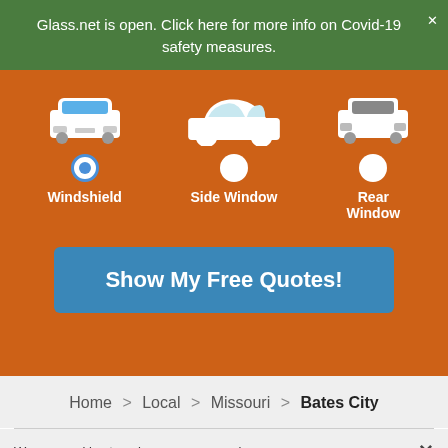Glass.net is open. Click here for more info on Covid-19 safety measures.
[Figure (screenshot): Orange hero section with three car icons (front-view, side-view, rear-view) representing Windshield, Side Window, and Rear Window options. Windshield radio button is selected (blue). A blue 'Show My Free Quotes!' button is shown below.]
Home > Local > Missouri > Bates City
We use cookies to enhance your experience.